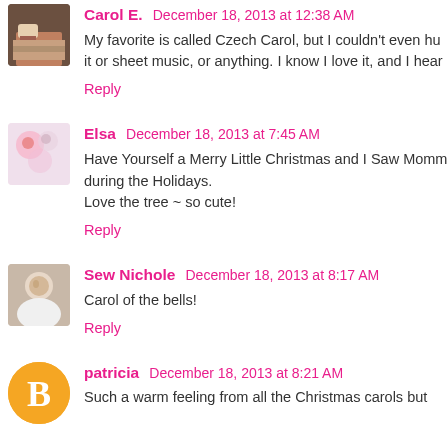Carol E. December 18, 2013 at 12:38 AM
My favorite is called Czech Carol, but I couldn't even hu it or sheet music, or anything. I know I love it, and I hear
Reply
Elsa December 18, 2013 at 7:45 AM
Have Yourself a Merry Little Christmas and I Saw Momm during the Holidays.
Love the tree ~ so cute!
Reply
Sew Nichole December 18, 2013 at 8:17 AM
Carol of the bells!
Reply
patricia December 18, 2013 at 8:21 AM
Such a warm feeling from all the Christmas carols but